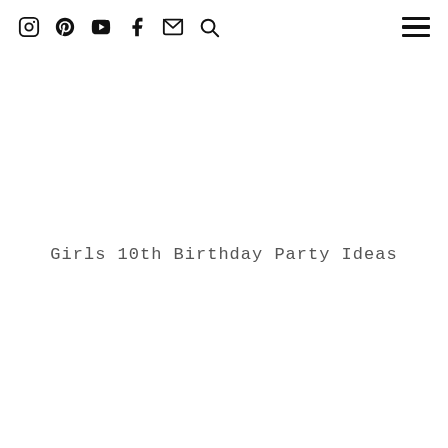[icons: Instagram, Pinterest, YouTube, Facebook, Email, Search] [hamburger menu]
Girls 10th Birthday Party Ideas